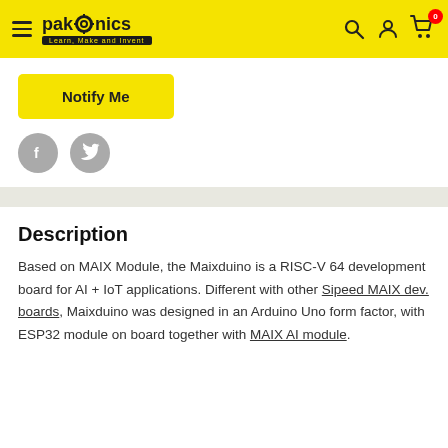pakronics — Learn, Make and Invent
Notify Me
[Figure (other): Facebook and Twitter social share icons (grey circles with f and bird logos)]
Description
Based on MAIX Module, the Maixduino is a RISC-V 64 development board for AI + IoT applications. Different with other Sipeed MAIX dev. boards, Maixduino was designed in an Arduino Uno form factor, with ESP32 module on board together with MAIX AI module.